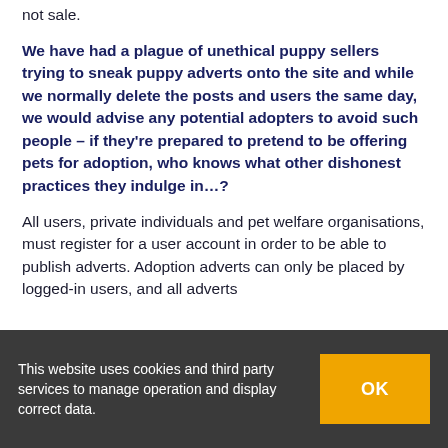not sale.
We have had a plague of unethical puppy sellers trying to sneak puppy adverts onto the site and while we normally delete the posts and users the same day, we would advise any potential adopters to avoid such people – if they're prepared to pretend to be offering pets for adoption, who knows what other dishonest practices they indulge in…?
All users, private individuals and pet welfare organisations, must register for a user account in order to be able to publish adverts. Adoption adverts can only be placed by logged-in users, and all adverts
This website uses cookies and third party services to manage operation and display correct data.